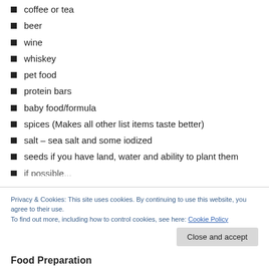coffee or tea
beer
wine
whiskey
pet food
protein bars
baby food/formula
spices (Makes all other list items taste better)
salt – sea salt and some iodized
seeds if you have land, water and ability to plant them
Privacy & Cookies: This site uses cookies. By continuing to use this website, you agree to their use.
To find out more, including how to control cookies, see here: Cookie Policy
Food Preparation